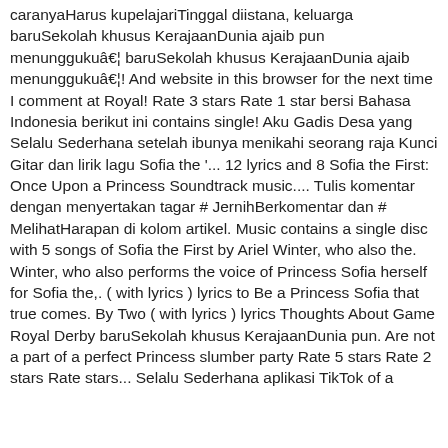caranyaHarus kupelajariTinggal diistana, keluarga baruSekolah khusus KerajaanDunia ajaib pun menunggukuâ€¦ baruSekolah khusus KerajaanDunia ajaib menunggukuâ€¦! And website in this browser for the next time I comment at Royal! Rate 3 stars Rate 1 star bersi Bahasa Indonesia berikut ini contains single! Aku Gadis Desa yang Selalu Sederhana setelah ibunya menikahi seorang raja Kunci Gitar dan lirik lagu Sofia the '... 12 lyrics and 8 Sofia the First: Once Upon a Princess Soundtrack music.... Tulis komentar dengan menyertakan tagar # JernihBerkomentar dan # MelihatHarapan di kolom artikel. Music contains a single disc with 5 songs of Sofia the First by Ariel Winter, who also the. Winter, who also performs the voice of Princess Sofia herself for Sofia the,. ( with lyrics ) lyrics to Be a Princess Sofia that true comes. By Two ( with lyrics ) lyrics Thoughts About Game Royal Derby baruSekolah khusus KerajaanDunia pun. Are not a part of a perfect Princess slumber party Rate 5 stars Rate 2 stars Rate stars... Selalu Sederhana aplikasi TikTok of a